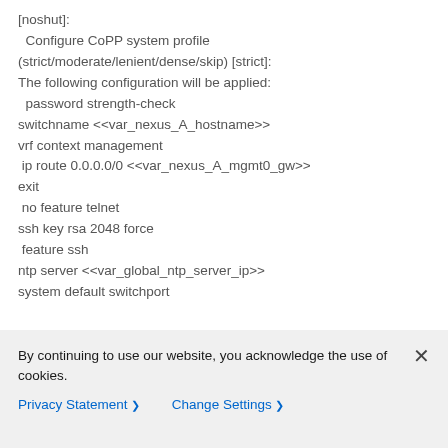[noshut]:
  Configure CoPP system profile (strict/moderate/lenient/dense/skip) [strict]:
The following configuration will be applied:
  password strength-check
switchname <<var_nexus_A_hostname>>
vrf context management
 ip route 0.0.0.0/0 <<var_nexus_A_mgmt0_gw>>
exit
 no feature telnet
ssh key rsa 2048 force
 feature ssh
ntp server <<var_global_ntp_server_ip>>
system default switchport
By continuing to use our website, you acknowledge the use of cookies.
Privacy Statement > Change Settings >